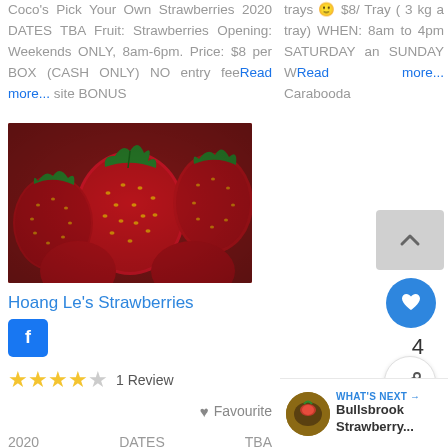Coco's Pick Your Own Strawberries 2020 DATES TBA Fruit: Strawberries Opening: Weekends ONLY, 8am-6pm. Price: $8 per BOX (CASH ONLY) NO entry fee Read more... site BONUS
trays 🙂 $8/ Tray ( 3 kg a tray) WHEN: 8am to 4pm SATURDAY an SUNDAY W Read more... Carabooda
[Figure (photo): Close-up photo of fresh red strawberries with green stems]
Hoang Le's Strawberries
[Figure (logo): Facebook 'f' button icon in blue]
★★★★☆ 1 Review
♥ Favourite
2020   DATES   TBA
[Figure (infographic): Scroll up arrow button (grey), heart/favourite circle button (blue), share button (white circle), count number 4]
WHAT'S NEXT → Bullsbrook Strawberry...